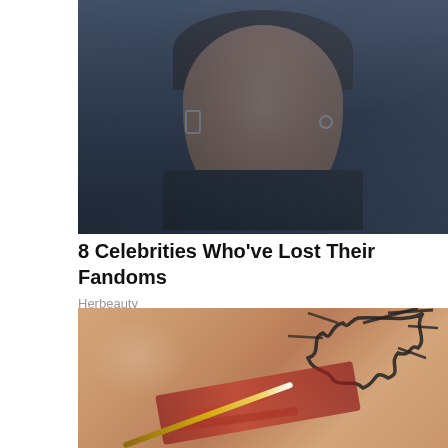[Figure (photo): Close-up portrait photo of a male celebrity with dark hair, earrings, against a dark blue-grey background]
8 Celebrities Who've Lost Their Fandoms
Herbeauty
[Figure (photo): Close-up photo of skin with a tribal tattoo being treated or worked on with a needle/stick, showing redness and wounds]